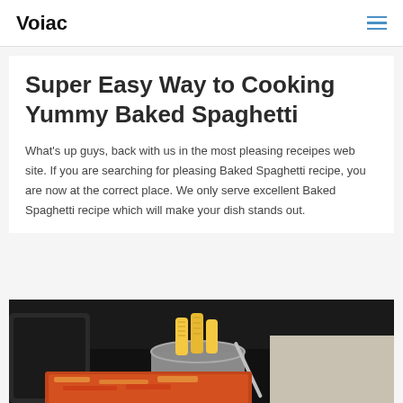Voiac
Super Easy Way to Cooking Yummy Baked Spaghetti
What's up guys, back with us in the most pleasing receipes web site. If you are searching for pleasing Baked Spaghetti recipe, you are now at the correct place. We only serve excellent Baked Spaghetti recipe which will make your dish stands out.
[Figure (photo): Food photo showing cooking pots on a stove with corn cobs in a silver pot and a baked dish with red sauce in the foreground]